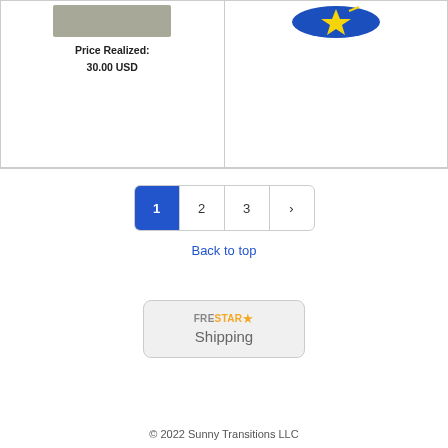[Figure (screenshot): Two product listing cards side by side. Left card shows a stone/rock image with 'Price Realized: 30.00 USD'. Right card shows a star logo image.]
Price Realized:
30.00 USD
1  2  3  ›
Back to top
[Figure (logo): FreeStar Shipping widget with orange/yellow star logo and text 'Shipping']
© 2022 Sunny Transitions LLC